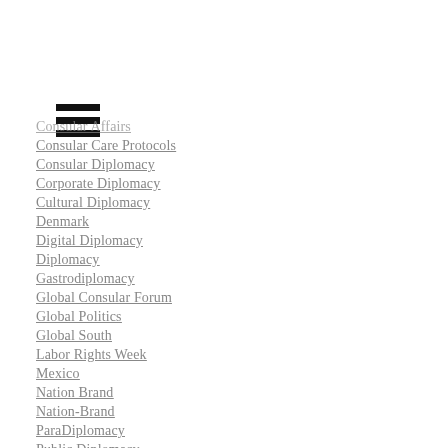[Figure (other): Hamburger menu icon with three horizontal black bars]
Consular Affairs
Consular Care Protocols
Consular Diplomacy
Corporate Diplomacy
Cultural Diplomacy
Denmark
Digital Diplomacy
Diplomacy
Gastrodiplomacy
Global Consular Forum
Global Politics
Global South
Labor Rights Week
Mexico
Nation Brand
Nation-Brand
ParaDiplomacy
Public Diplomacy
TRICAMEX